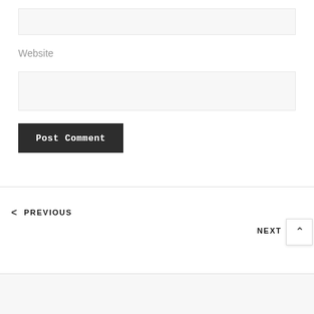[Figure (screenshot): Empty input text box with light gray background at top of form]
Website
[Figure (screenshot): Empty website input text box with light gray background]
[Figure (screenshot): Dark 'Post Comment' button with white monospace text]
< PREVIOUS
NEXT
[Figure (screenshot): Scroll-to-top button with upward caret arrow icon]